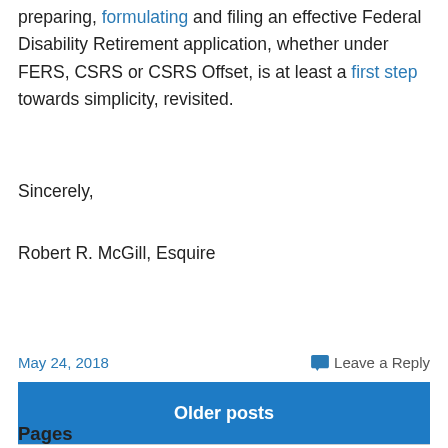preparing, formulating and filing an effective Federal Disability Retirement application, whether under FERS, CSRS or CSRS Offset, is at least a first step towards simplicity, revisited.
Sincerely,
Robert R. McGill, Esquire
May 24, 2018   Leave a Reply
Older posts
Pages